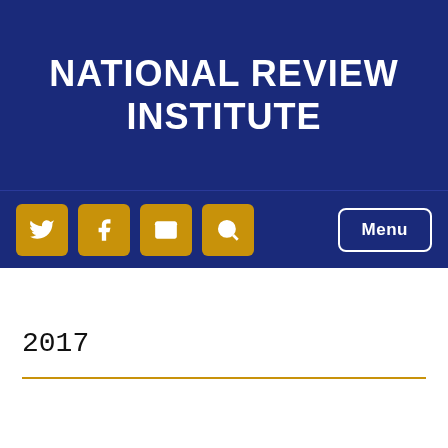NATIONAL REVIEW INSTITUTE
[Figure (infographic): Navigation bar with social media icon buttons (Twitter, Facebook, Email, Search) in gold squares and a Menu button with white border on dark blue background]
2017